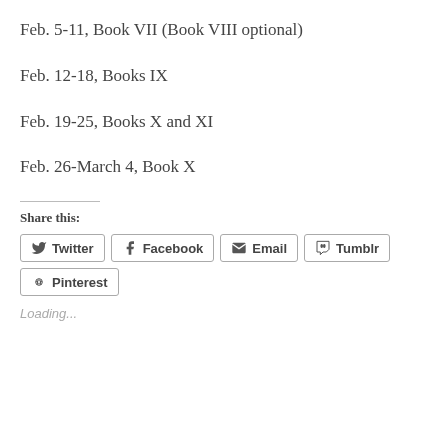Feb. 5-11, Book VII (Book VIII optional)
Feb. 12-18, Books IX
Feb. 19-25, Books X and XI
Feb. 26-March 4, Book X
Share this:
Twitter  Facebook  Email  Tumblr  Pinterest
Loading...